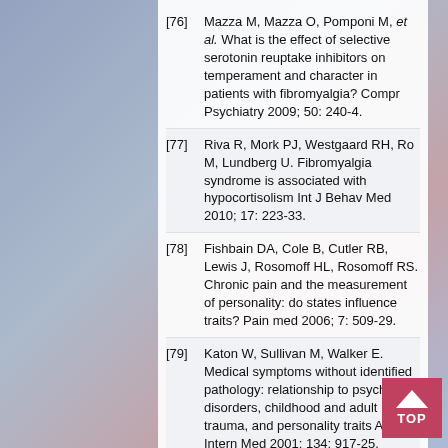[76] Mazza M, Mazza O, Pomponi M, et al. What is the effect of selective serotonin reuptake inhibitors on temperament and character in patients with fibromyalgia? Compr Psychiatry 2009; 50: 240-4.
[77] Riva R, Mork PJ, Westgaard RH, Ro M, Lundberg U. Fibromyalgia syndrome is associated with hypocortisolism Int J Behav Med 2010; 17: 223-33.
[78] Fishbain DA, Cole B, Cutler RB, Lewis J, Rosomoff HL, Rosomoff RS. Chronic pain and the measurement of personality: do states influence traits? Pain med 2006; 7: 509-29.
[79] Katon W, Sullivan M, Walker E. Medical symptoms without identified pathology: relationship to psychiatric disorders, childhood and adult trauma, and personality traits Ann Intern Med 2001; 134: 917-25.
[80] Hauser W, Biewer W, Gesmann M, et al. A comparison of the clinical features of fibromyalgia syndrome in different settings Eur J Pain 2011; 15(9 ): 936-